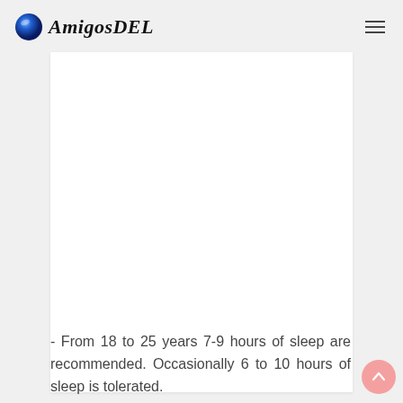AmigosDEL
[Figure (other): White content area placeholder (advertisement or image space)]
- From 18 to 25 years 7-9 hours of sleep are recommended. Occasionally 6 to 10 hours of sleep is tolerated.